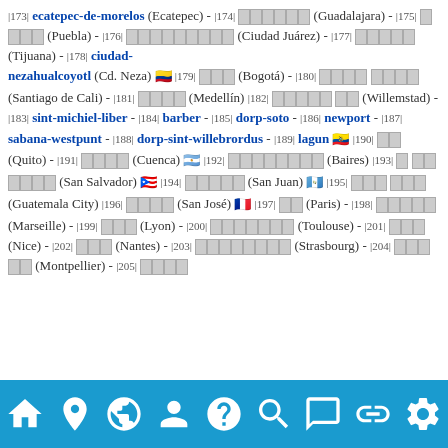Wikipedia city list page showing numbered entries 173-205 for cities in Mexico, Colombia, Curaçao, Ecuador, El Salvador, Puerto Rico, Guatemala, Costa Rica, and France, with flag emojis and city name links in multiple scripts.
Navigation bar with icons: home, location pin, globe, user, FAQ, search, chat, link, settings